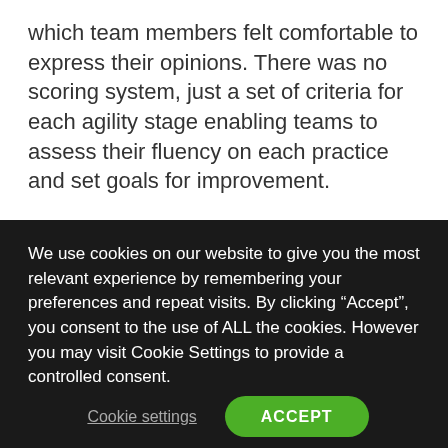which team members felt comfortable to express their opinions. There was no scoring system, just a set of criteria for each agility stage enabling teams to assess their fluency on each practice and set goals for improvement.
Finally, we were able to create dashboards that consolidated cross-assessment and cross-team results in a consumable and actionable format. Aggregated results were created from teams within a specific business unit or a program. This approach
We use cookies on our website to give you the most relevant experience by remembering your preferences and repeat visits. By clicking “Accept”, you consent to the use of ALL the cookies. However you may visit Cookie Settings to provide a controlled consent.
Cookie settings
ACCEPT